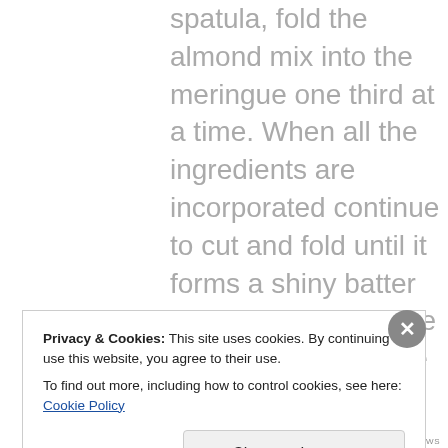spatula, fold the almond mix into the meringue one third at a time. When all the ingredients are incorporated continue to cut and fold until it forms a shiny batter with a thick ribbonlike consistency.Pour the
Privacy & Cookies: This site uses cookies. By continuing to use this website, you agree to their use.
To find out more, including how to control cookies, see here: Cookie Policy
Close and accept